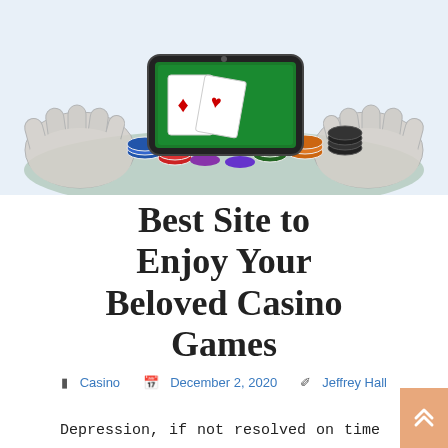[Figure (illustration): Illustration of two hands holding a smartphone showing playing cards surrounded by colorful casino chips]
Best Site to Enjoy Your Beloved Casino Games
📁 Casino  📅 December 2, 2020  👤 Jeffrey Hall
Depression, if not resolved on time can negatively affect your health. For one, it